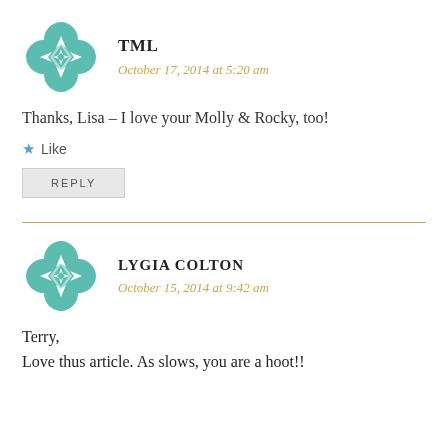[Figure (logo): Teal geometric flower/quilt pattern avatar for TML]
TML
October 17, 2014 at 5:20 am
Thanks, Lisa – I love your Molly & Rocky, too!
Like
REPLY
[Figure (logo): Teal geometric flower/quilt pattern avatar for Lygia Colton]
LYGIA COLTON
October 15, 2014 at 9:42 am
Terry,
Love thus article. As slows, you are a hoot!!